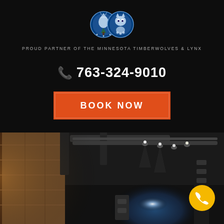[Figure (logo): Minnesota Timberwolves and Lynx team logos side by side on dark background]
PROUD PARTNER OF THE MINNESOTA TIMBERWOLVES & LYNX
📞 763-324-9010
BOOK NOW
[Figure (photo): Interior room photo showing ceiling track lighting, wooden panel wall on left, dark ceiling with LED spotlights, speaker and wall panel visible, glowing planet/earth image in background]
[Figure (logo): Yellow circular phone/call button in bottom right corner]